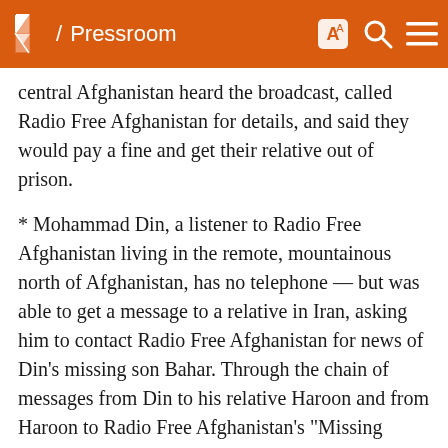/ Pressroom
central Afghanistan heard the broadcast, called Radio Free Afghanistan for details, and said they would pay a fine and get their relative out of prison.
* Mohammad Din, a listener to Radio Free Afghanistan living in the remote, mountainous north of Afghanistan, has no telephone -- but was able to get a message to a relative in Iran, asking him to contact Radio Free Afghanistan for news of Din's missing son Bahar. Through the chain of messages from Din to his relative Haroon and from Haroon to Radio Free Afghanistan's "Missing People," Bahar learned his father's address and returned home ending many years of separation. Bahar's father Mohammad Din sent another message, through Haroon in Iran to Radio Free Afghanistan, to express gratitude for the return of his son.